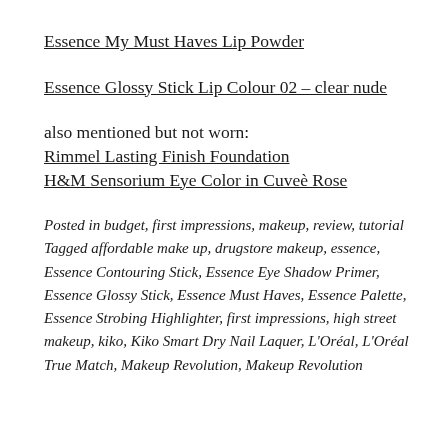Essence My Must Haves Lip Powder
Essence Glossy Stick Lip Colour 02 – clear nude
also mentioned but not worn:
Rimmel Lasting Finish Foundation
H&M Sensorium Eye Color in Cuveè Rose
Posted in budget, first impressions, makeup, review, tutorial
Tagged affordable make up, drugstore makeup, essence, Essence Contouring Stick, Essence Eye Shadow Primer, Essence Glossy Stick, Essence Must Haves, Essence Palette, Essence Strobing Highlighter, first impressions, high street makeup, kiko, Kiko Smart Dry Nail Laquer, L'Oréal, L'Oréal True Match, Makeup Revolution, Makeup Revolution